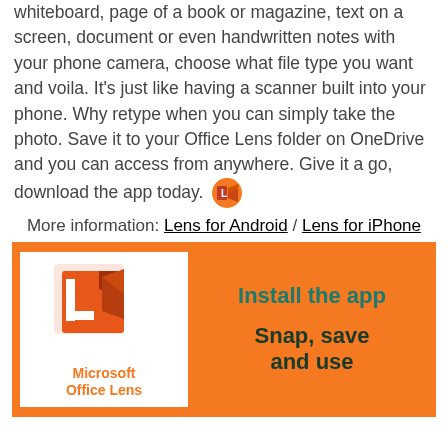whiteboard, page of a book or magazine, text on a screen, document or even handwritten notes with your phone camera, choose what file type you want and voila. It's just like having a scanner built into your phone. Why retype when you can simply take the photo. Save it to your Office Lens folder on OneDrive and you can access from anywhere. Give it a go, download the app today.
More information: Lens for Android / Lens for iPhone
[Figure (illustration): Orange banner advertisement for Microsoft Office Lens app. Left side shows the app logo (white square with orange and red L/M icon) and text 'Microsoft Office Lens'. Right side shows text 'Install the app' in teal bold and 'Snap, save and use' in dark bold.]